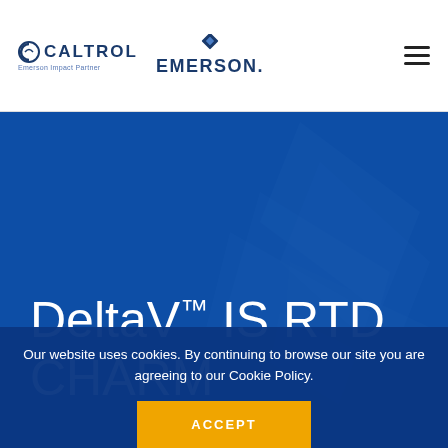CALTROL Emerson Impact Partner | EMERSON
DeltaV™ IS RTD CHARM
Our website uses cookies. By continuing to browse our site you are agreeing to our Cookie Policy.
ACCEPT